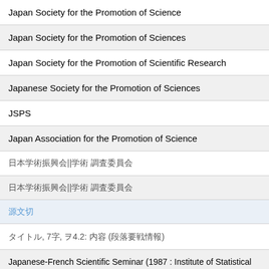Japan Society for the Promotion of Science
Japan Society for the Promotion of Sciences
Japan Society for the Promotion of Scientific Research
Japanese Society for the Promotion of Sciences
JSPS
Japan Association for the Promotion of Science
日本学術振興会||学術 調査委員会
日本学術振興会||学術 調査委員会
源文切
タイトル, 7字, こ4.2: 内容 (段落要战情報)
Japanese-French Scientific Seminar (1987 : Institute of Statistical Mathematics). Recent development in clustering and data analysis, c1988: CIP galley (JSPS, Japan Society for the Promotion of Sciences)
updating availability status information...
Diagnostic ultrasound of the prostate, c1989: CIP pref. (Japanese